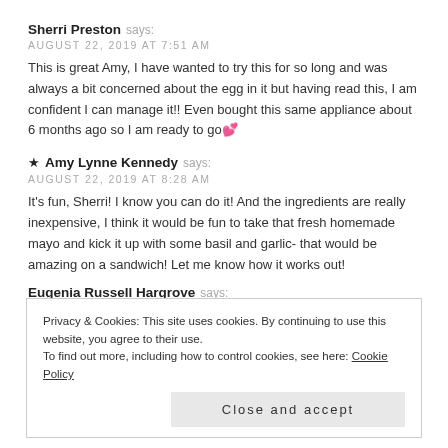Sherri Preston says:
AUGUST 22, 2019 AT 7:51 AM
This is great Amy, I have wanted to try this for so long and was always a bit concerned about the egg in it but having read this, I am confident I can manage it!! Even bought this same appliance about 6 months ago so I am ready to go 💕
★ Amy Lynne Kennedy says:
AUGUST 22, 2019 AT 8:28 AM
It's fun, Sherri! I know you can do it! And the ingredients are really inexpensive, I think it would be fun to take that fresh homemade mayo and kick it up with some basil and garlic- that would be amazing on a sandwich! Let me know how it works out!
Eugenia Russell Hargrove says:
Privacy & Cookies: This site uses cookies. By continuing to use this website, you agree to their use.
To find out more, including how to control cookies, see here: Cookie Policy
Close and accept